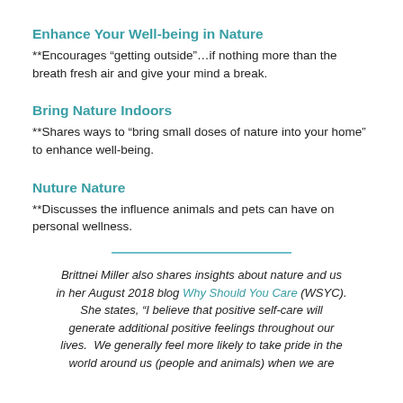Enhance Your Well-being in Nature
**Encourages “getting outside”…if nothing more than the breath fresh air and give your mind a break.
Bring Nature Indoors
**Shares ways to “bring small doses of nature into your home” to enhance well-being.
Nuture Nature
**Discusses the influence animals and pets can have on personal wellness.
Brittnei Miller also shares insights about nature and us in her August 2018 blog Why Should You Care (WSYC). She states, “I believe that positive self-care will generate additional positive feelings throughout our lives. We generally feel more likely to take pride in the world around us (people and animals) when we are